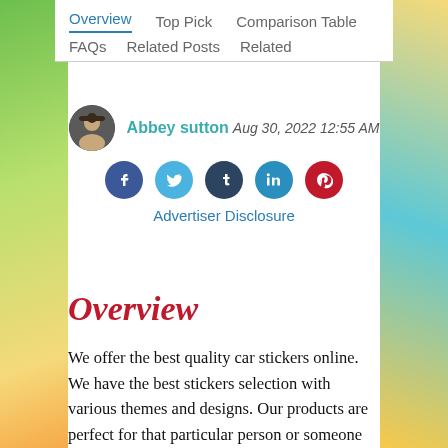Overview | Top Pick | Comparison Table | FAQs | Related Posts | Related
Abbey sutton  Aug 30, 2022 12:55 AM
Advertiser Disclosure
Overview
We offer the best quality car stickers online. We have the best stickers selection with various themes and designs. Our products are perfect for that particular person or someone who needs a present to give their car or truck.